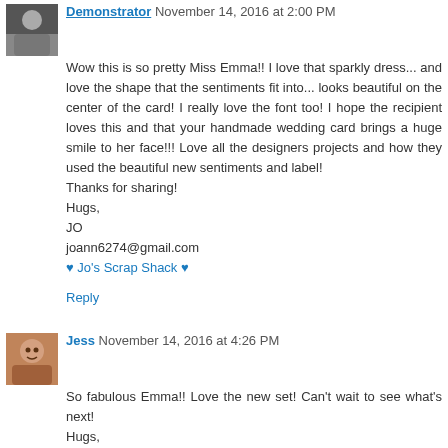Demonstrator November 14, 2016 at 2:00 PM
Wow this is so pretty Miss Emma!! I love that sparkly dress... and love the shape that the sentiments fit into... looks beautiful on the center of the card! I really love the font too! I hope the recipient loves this and that your handmade wedding card brings a huge smile to her face!!! Love all the designers projects and how they used the beautiful new sentiments and label!
Thanks for sharing!
Hugs,
JO
joann6274@gmail.com
♥ Jo's Scrap Shack ♥
Reply
Jess November 14, 2016 at 4:26 PM
So fabulous Emma!! Love the new set! Can't wait to see what's next!
Hugs,
Jess
Craftingwithjess@gmail.com